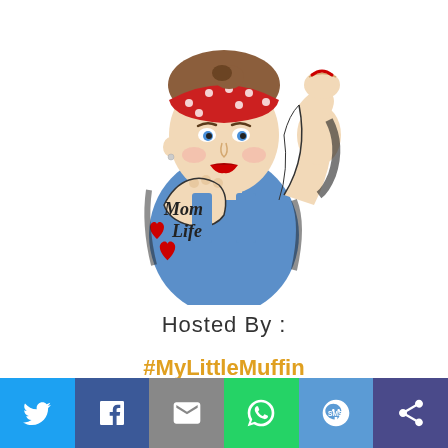[Figure (illustration): Rosie the Riveter style illustration of a woman in a blue tank top, red polka-dot bandana, flexing her arm. She has a tattoo on her arm reading 'Mom Life' with a red heart.]
Hosted By :
#MyLittleMuffin
[Figure (infographic): Social sharing bar with 6 buttons: Twitter (light blue), Facebook (dark blue), Email (gray), WhatsApp (green), SMS (blue), Share (dark blue/purple). Each has a white icon.]